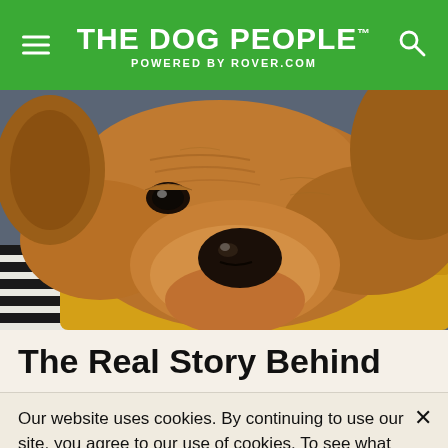THE DOG PEOPLE™ POWERED BY ROVER.COM
[Figure (photo): Close-up photo of a brown/tan dog resting its head on a yellow surface, with a striped blanket visible in the lower left]
The Real Story Behind
Our website uses cookies. By continuing to use our site, you agree to our use of cookies. To see what cookies we serve and set your own preferences, please review our Cookie Policy. Learn More.